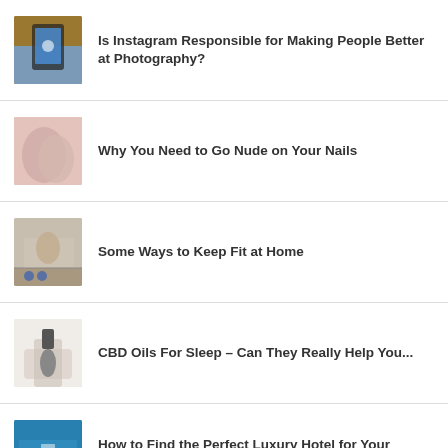Is Instagram Responsible for Making People Better at Photography?
Why You Need to Go Nude on Your Nails
Some Ways to Keep Fit at Home
CBD Oils For Sleep – Can They Really Help You...
How to Find the Perfect Luxury Hotel for Your Next...